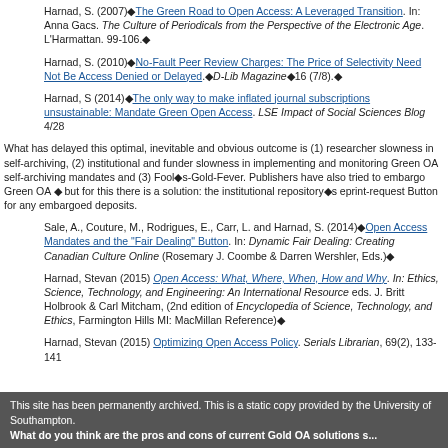Harnad, S. (2007)◆The Green Road to Open Access: A Leveraged Transition. In: Anna Gacs. The Culture of Periodicals from the Perspective of the Electronic Age. L'Harmattan. 99-106.◆
Harnad, S. (2010)◆No-Fault Peer Review Charges: The Price of Selectivity Need Not Be Access Denied or Delayed.◆D-Lib Magazine◆16 (7/8).◆
Harnad, S (2014)◆The only way to make inflated journal subscriptions unsustainable: Mandate Green Open Access. LSE Impact of Social Sciences Blog 4/28
What has delayed this optimal, inevitable and obvious outcome is (1) researcher slowness in self-archiving, (2) institutional and funder slowness in implementing and monitoring Green OA self-archiving mandates and (3) Fool◆s-Gold-Fever. Publishers have also tried to embargo Green OA ◆ but for this there is a solution: the institutional repository◆s eprint-request Button for any embargoed deposits.
Sale, A., Couture, M., Rodrigues, E., Carr, L. and Harnad, S. (2014)◆Open Access Mandates and the "Fair Dealing" Button. In: Dynamic Fair Dealing: Creating Canadian Culture Online (Rosemary J. Coombe & Darren Wershler, Eds.)◆
Harnad, Stevan (2015) Open Access: What, Where, When, How and Why. In: Ethics, Science, Technology, and Engineering: An International Resource eds. J. Britt Holbrook & Carl Mitcham, (2nd edition of Encyclopedia of Science, Technology, and Ethics, Farmington Hills MI: MacMillan Reference)◆
Harnad, Stevan (2015) Optimizing Open Access Policy. Serials Librarian, 69(2), 133-141
This site has been permanently archived. This is a static copy provided by the University of Southampton.
What do you think are the pros and cons of current Gold OA solutions s...